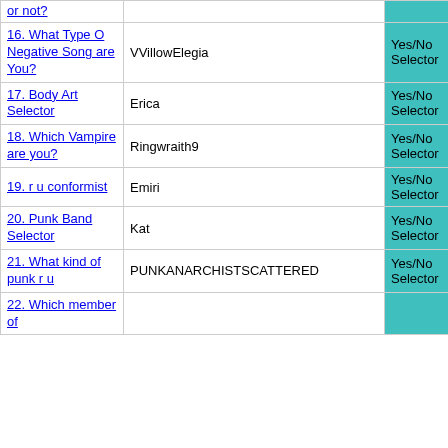| Quiz | User | Type | Star |
| --- | --- | --- | --- |
| or not? |  | Yes/No Selector | ★ |
| 16. What Type O Negative Song are You? | VVillowElegia | Yes/No Selector | ★ |
| 17. Body Art Selector | Erica | Yes/No Selector | ★ |
| 18. Which Vampire are you? | Ringwraith9 | Yes/No Selector | ★ |
| 19. r u conformist | Emiri | Yes/No Selector | ☆ |
| 20. Punk Band Selector | Kat | Yes/No Selector | ★ |
| 21. What kind of punk r u | PUNKANARCHISTSCATTERED | Yes/No Selector | ★ |
| 22. Which member of |  | Yes/No Selector |  |